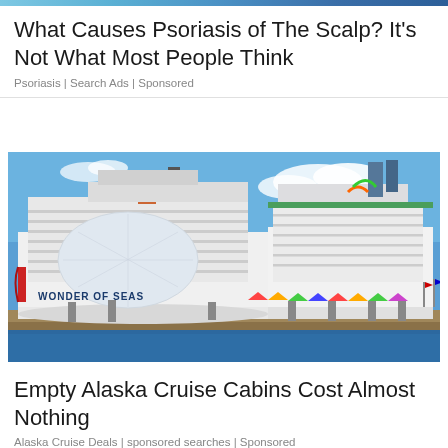What Causes Psoriasis of The Scalp? It’s Not What Most People Think
Psoriasis | Search Ads | Sponsored
[Figure (photo): Two large cruise ships docked at port. The ship on the left is labeled 'Wonder of the Seas' with a distinctive white geodesic dome structure. The ship on the right is another large cruise ship. Blue sky with some clouds in the background, colorful umbrellas and dock structures in the foreground.]
Empty Alaska Cruise Cabins Cost Almost Nothing
Alaska Cruise Deals | sponsored searches | Sponsored